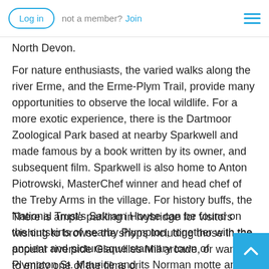Log in   not a member? Join
North Devon.
For nature enthusiasts, the varied walks along the river Erme, and the Erme-Plym Trail, provide many opportunities to observe the local wildlife. For a more exotic experience, there is the Dartmoor Zoological Park based at nearby Sparkwell and made famous by a book written by its owner, and subsequent film. Sparkwell is also home to Anton Piotrowski, MasterChef winner and head chef of the Treby Arms in the village. For history buffs, the National Trust's Saltram House can be found on the outskirts of nearby Plympton, together with the ancient and picturesque stannary town of Plympton St. Maurice and its Norman motte and bailey castle featured in the BBC's Time Team programme.
There is ample parking in Ivybridge for visitors wishing to browse the shops including those in the popular riverside Glanvilles Mill arcade, or wanting to enjoy one of the films or